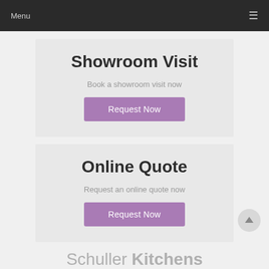Menu
Showroom Visit
Book a showroom visit now
Request Now
Online Quote
Request an online quote now
Request Now
Schuller Kitchens